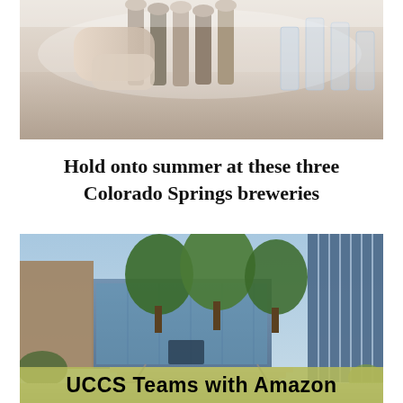[Figure (photo): Close-up of a person's hands operating beer taps at a bar, with glassware visible in the background.]
Hold onto summer at these three Colorado Springs breweries
[Figure (photo): Exterior of a UCCS campus building with large trees, stairs, and railings in the foreground, and a modern blue-paneled building on the right.]
UCCS Teams with Amazon